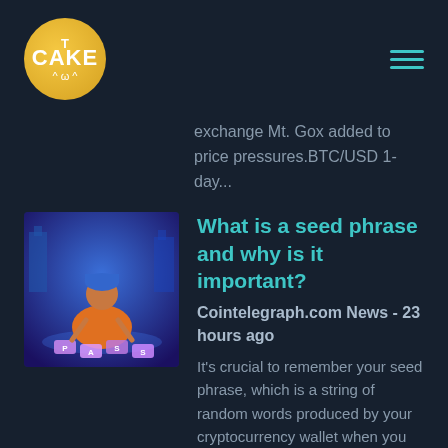[Figure (logo): TCAKE logo: golden circle with T above CAKE text and a smiley face]
exchange Mt. Gox added to price pressures.BTC/USD 1-day...
[Figure (photo): A person in orange clothing sitting on ground arranging PASSWORD letters in a blue fantasy setting]
What is a seed phrase and why is it important?
Cointelegraph.com News - 23 hours ago
It's crucial to remember your seed phrase, which is a string of random words produced by your cryptocurrency wallet when you initially set it up. How to keep your seed phrase